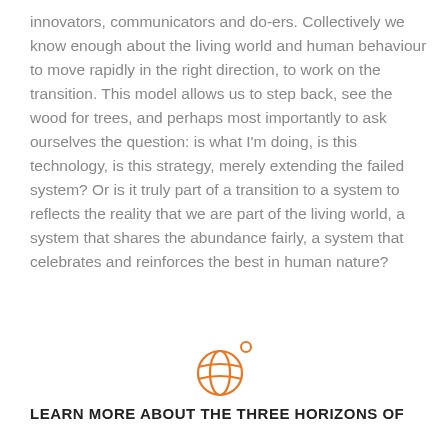innovators, communicators and do-ers. Collectively we know enough about the living world and human behaviour to move rapidly in the right direction, to work on the transition. This model allows us to step back, see the wood for trees, and perhaps most importantly to ask ourselves the question: is what I'm doing, is this technology, is this strategy, merely extending the failed system? Or is it truly part of a transition to a system to reflects the reality that we are part of the living world, a system that shares the abundance fairly, a system that celebrates and reinforces the best in human nature?
[Figure (illustration): Orange globe icon with a small degree symbol circle at the upper right]
LEARN MORE ABOUT THE THREE HORIZONS OF